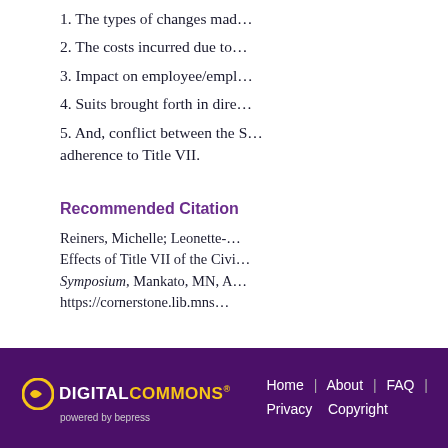1. The types of changes mad…
2. The costs incurred due to…
3. Impact on employee/empl…
4. Suits brought forth in dire…
5. And, conflict between the S… adherence to Title VII.
Recommended Citation
Reiners, Michelle; Leonette-… Effects of Title VII of the Civi… Symposium, Mankato, MN, A… https://cornerstone.lib.mns…
Home | About | FAQ | Privacy Copyright — Digital Commons powered by bepress